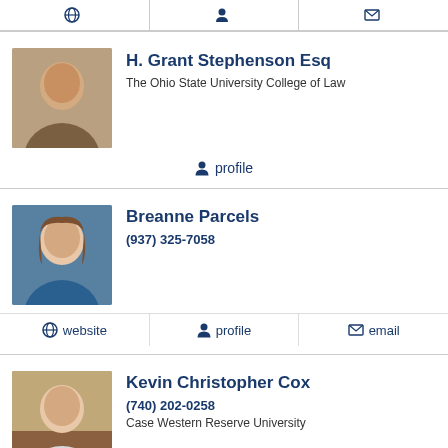website | profile | email (partial navigation bar)
[Figure (photo): Headshot of H. Grant Stephenson, middle-aged man in suit]
H. Grant Stephenson Esq
The Ohio State University College of Law
profile
[Figure (photo): Headshot of Breanne Parcels, young woman with brown hair in blue top]
Breanne Parcels
(937) 325-7058
website | profile | email
[Figure (photo): Headshot of Kevin Christopher Cox, bald man in white shirt outdoors]
Kevin Christopher Cox
(740) 202-0258
Case Western Reserve University